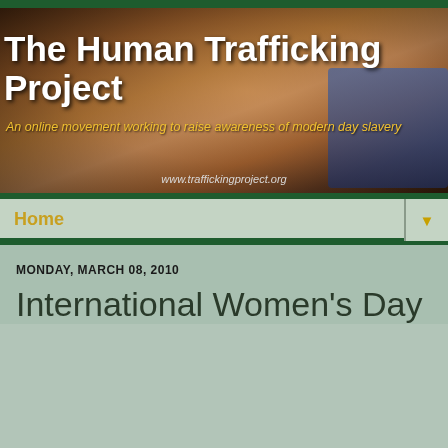[Figure (illustration): The Human Trafficking Project website banner showing hands bound together with text overlay. White bold title text reads 'The Human Trafficking Project', yellow italic subtitle reads 'An online movement working to raise awareness of modern day slavery', and URL www.traffickingproject.org at bottom.]
Home
MONDAY, MARCH 08, 2010
International Women's Day